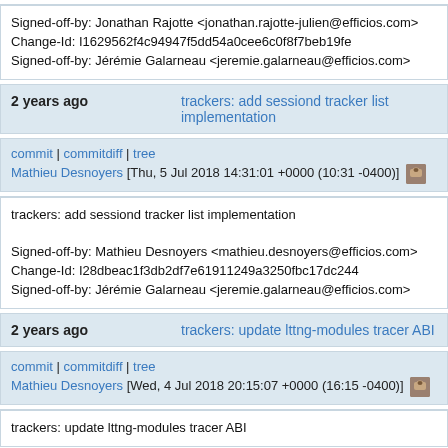Signed-off-by: Jonathan Rajotte <jonathan.rajotte-julien@efficios.com>
Change-Id: I1629562f4c94947f5dd54a0cee6c0f8f7beb19fe
Signed-off-by: Jérémie Galarneau <jeremie.galarneau@efficios.com>
2 years ago   trackers: add sessiond tracker list implementation
commit | commitdiff | tree
Mathieu Desnoyers [Thu, 5 Jul 2018 14:31:01 +0000 (10:31 -0400)]
trackers: add sessiond tracker list implementation

Signed-off-by: Mathieu Desnoyers <mathieu.desnoyers@efficios.com>
Change-Id: I28dbeac1f3db2df7e61911249a3250fbc17dc244
Signed-off-by: Jérémie Galarneau <jeremie.galarneau@efficios.com>
2 years ago   trackers: update lttng-modules tracer ABI
commit | commitdiff | tree
Mathieu Desnoyers [Wed, 4 Jul 2018 20:15:07 +0000 (16:15 -0400)]
trackers: update lttng-modules tracer ABI